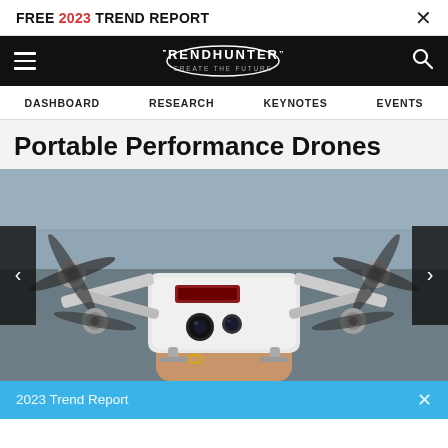FREE 2023 TREND REPORT  X
TRENDHUNTER CREATE THE FUTURE — DASHBOARD  RESEARCH  KEYNOTES  EVENTS
Portable Performance Drones
[Figure (photo): Close-up photo of a small white consumer drone (DJI Spark-style) being held in a human hand, with propellers visible and a red sensor strip and camera on the front, blurred urban background.]
2023 Trend Report  X